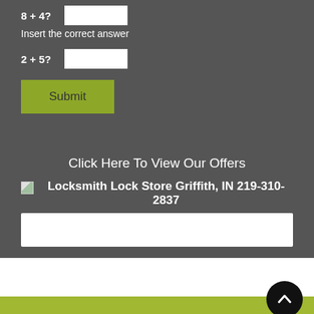8 + 4?
Insert the correct answer
2 + 5?
Submit
Click Here To View Our Offers
[Figure (other): Broken image icon with alt text: Locksmith Lock Store Griffith, IN 219-310-2837]
Locksmith Lock Store Griffith, IN 219-310-2837